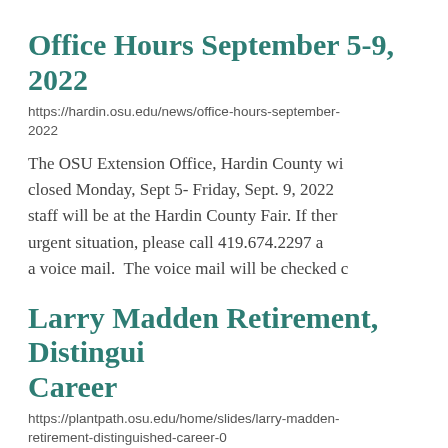Office Hours September 5-9, 2022
https://hardin.osu.edu/news/office-hours-september-2022
The OSU Extension Office, Hardin County wi closed Monday, Sept 5- Friday, Sept. 9, 2022 staff will be at the Hardin County Fair. If ther urgent situation, please call 419.674.2297 a a voice mail.  The voice mail will be checked c
Larry Madden Retirement, Distingui Career
https://plantpath.osu.edu/home/slides/larry-madden-retirement-distinguished-career-0
A pioneer in plant disease epidemiology is re